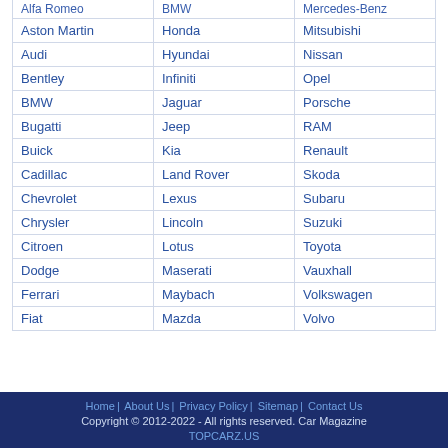| Alfa Romeo | BMW | Mercedes-Benz |
| Aston Martin | Honda | Mitsubishi |
| Audi | Hyundai | Nissan |
| Bentley | Infiniti | Opel |
| BMW | Jaguar | Porsche |
| Bugatti | Jeep | RAM |
| Buick | Kia | Renault |
| Cadillac | Land Rover | Skoda |
| Chevrolet | Lexus | Subaru |
| Chrysler | Lincoln | Suzuki |
| Citroen | Lotus | Toyota |
| Dodge | Maserati | Vauxhall |
| Ferrari | Maybach | Volkswagen |
| Fiat | Mazda | Volvo |
Home | About Us | Privacy Policy | Sitemap | Contact Us
Copyright © 2012-2022 - All rights reserved. Car Magazine
TOPCARZ.US